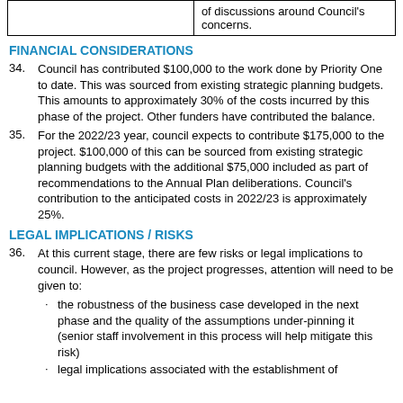|  |  |
| --- | --- |
|  | of discussions around Council's concerns. |
FINANCIAL CONSIDERATIONS
34.   Council has contributed $100,000 to the work done by Priority One to date. This was sourced from existing strategic planning budgets. This amounts to approximately 30% of the costs incurred by this phase of the project. Other funders have contributed the balance.
35.   For the 2022/23 year, council expects to contribute $175,000 to the project. $100,000 of this can be sourced from existing strategic planning budgets with the additional $75,000 included as part of recommendations to the Annual Plan deliberations. Council's contribution to the anticipated costs in 2022/23 is approximately 25%.
LEGAL IMPLICATIONS / RISKS
36.   At this current stage, there are few risks or legal implications to council. However, as the project progresses, attention will need to be given to:
· the robustness of the business case developed in the next phase and the quality of the assumptions under-pinning it (senior staff involvement in this process will help mitigate this risk)
· legal implications associated with the establishment of